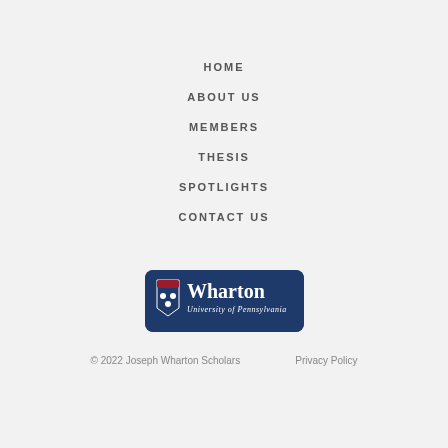HOME
ABOUT US
MEMBERS
THESIS
SPOTLIGHTS
CONTACT US
[Figure (logo): Wharton University of Pennsylvania logo on dark blue rounded rectangle background]
© 2022 Joseph Wharton Scholars    Privacy Policy